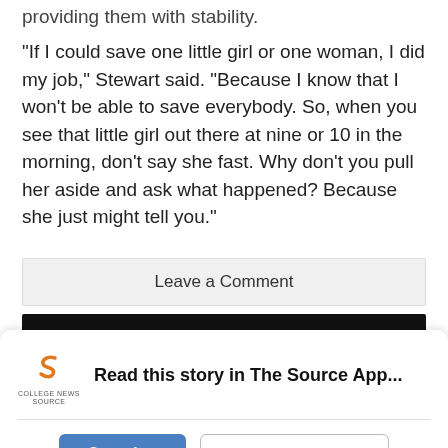providing them with stability.
“If I could save one little girl or one woman, I did my job,” Stewart said. “Because I know that I won’t be able to save everybody. So, when you see that little girl out there at nine or 10 in the morning, don’t say she fast. Why don’t you pull her aside and ask what happened? Because she just might tell you.”
Leave a Comment
[Figure (screenshot): Dark banner bar at the top of an app promotion overlay]
Read this story in The Source App...
Open App
Continue in browser